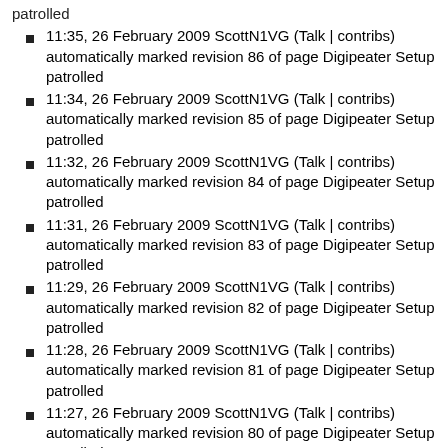patrolled (partial, top of page)
11:35, 26 February 2009 ScottN1VG (Talk | contribs) automatically marked revision 86 of page Digipeater Setup patrolled
11:34, 26 February 2009 ScottN1VG (Talk | contribs) automatically marked revision 85 of page Digipeater Setup patrolled
11:32, 26 February 2009 ScottN1VG (Talk | contribs) automatically marked revision 84 of page Digipeater Setup patrolled
11:31, 26 February 2009 ScottN1VG (Talk | contribs) automatically marked revision 83 of page Digipeater Setup patrolled
11:29, 26 February 2009 ScottN1VG (Talk | contribs) automatically marked revision 82 of page Digipeater Setup patrolled
11:28, 26 February 2009 ScottN1VG (Talk | contribs) automatically marked revision 81 of page Digipeater Setup patrolled
11:27, 26 February 2009 ScottN1VG (Talk | contribs) automatically marked revision 80 of page Digipeater Setup patrolled
11:21, 26 February 2009 ScottN1VG (Talk | contribs) automatically marked revision 79 of page Digipeater Setup patrolled
11:14, 26 February 2009 ScottN1VG (Talk | contribs) (partial, bottom of page)